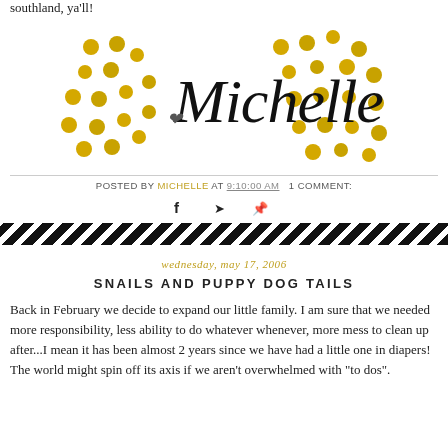southland, ya'll!
[Figure (logo): Blog logo with 'Michelle' in cursive script surrounded by decorative gold dots/circles arranged on both sides]
POSTED BY MICHELLE AT 9:10:00 AM   1 COMMENT:
[Figure (illustration): Social media icons: Facebook, Twitter, Pinterest]
[Figure (illustration): Diagonal black and white stripe bar divider]
wednesday, may 17, 2006
SNAILS AND PUPPY DOG TAILS
Back in February we decide to expand our little family. I am sure that we needed more responsibility, less ability to do whatever whenever, more mess to clean up after...I mean it has been almost 2 years since we have had a little one in diapers! The world might spin off its axis if we aren't overwhelmed with "to dos".